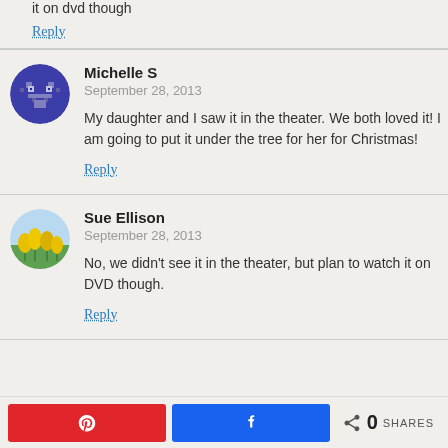it on dvd though
Reply
Michelle S
September 28, 2013
My daughter and I saw it in the theater. We both loved it! I am going to put it under the tree for her for Christmas!
Reply
Sue Ellison
September 28, 2013
No, we didn't see it in the theater, but plan to watch it on DVD though.
Reply